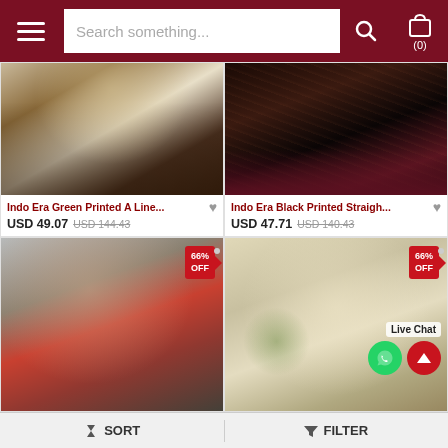[Figure (screenshot): E-commerce website header with hamburger menu, search bar, and cart icon showing (0)]
[Figure (photo): Indo Era Green Printed A Line kurta set on model, dark brown and cream colors]
Indo Era Green Printed A Line...
USD 49.07  USD 144.43
[Figure (photo): Indo Era Black Printed Straight kurta on model, black with floral print and maroon pants]
Indo Era Black Printed Straigh...
USD 47.71  USD 140.43
[Figure (photo): Kurta set with red dupatta, 66% OFF badge, dark floral print top]
[Figure (photo): Light colored kurta with embroidery, 66% OFF badge, Live Chat overlay with WhatsApp and scroll-up buttons]
Live Chat
SORT
FILTER